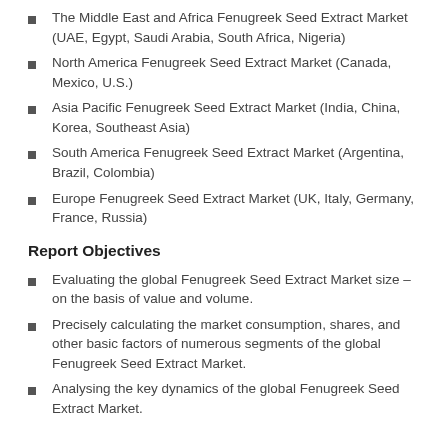The Middle East and Africa Fenugreek Seed Extract Market (UAE, Egypt, Saudi Arabia, South Africa, Nigeria)
North America Fenugreek Seed Extract Market (Canada, Mexico, U.S.)
Asia Pacific Fenugreek Seed Extract Market (India, China, Korea, Southeast Asia)
South America Fenugreek Seed Extract Market (Argentina, Brazil, Colombia)
Europe Fenugreek Seed Extract Market (UK, Italy, Germany, France, Russia)
Report Objectives
Evaluating the global Fenugreek Seed Extract Market size – on the basis of value and volume.
Precisely calculating the market consumption, shares, and other basic factors of numerous segments of the global Fenugreek Seed Extract Market.
Analysing the key dynamics of the global Fenugreek Seed Extract Market.